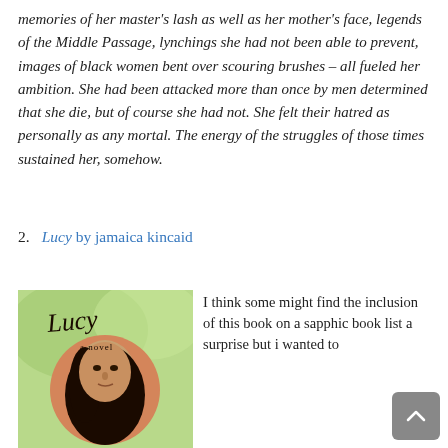memories of her master's lash as well as her mother's face, legends of the Middle Passage, lynchings she had not been able to prevent, images of black women bent over scouring brushes – all fueled her ambition. She had been attacked more than once by men determined that she die, but of course she had not. She felt their hatred as personally as any mortal. The energy of the struggles of those times sustained her, somehow.
2. Lucy by jamaica kincaid
[Figure (illustration): Book cover of 'Lucy, a novel' by Jamaica Kincaid. Green background with a circular portrait of a dark-haired woman. Title written in script.]
I think some might find the inclusion of this book on a sapphic book list a surprise but i wanted to